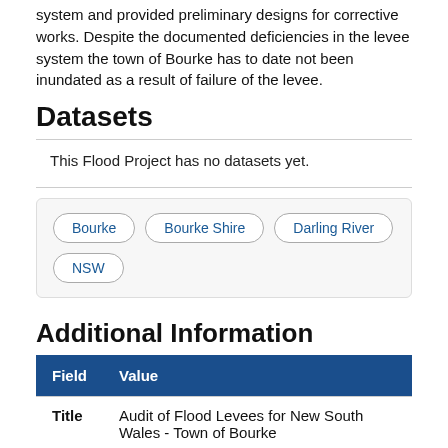system and provided preliminary designs for corrective works. Despite the documented deficiencies in the levee system the town of Bourke has to date not been inundated as a result of failure of the levee.
Datasets
This Flood Project has no datasets yet.
Bourke  Bourke Shire  Darling River  NSW
Additional Information
| Field | Value |
| --- | --- |
| Title | Audit of Flood Levees for New South Wales - Town of Bourke |